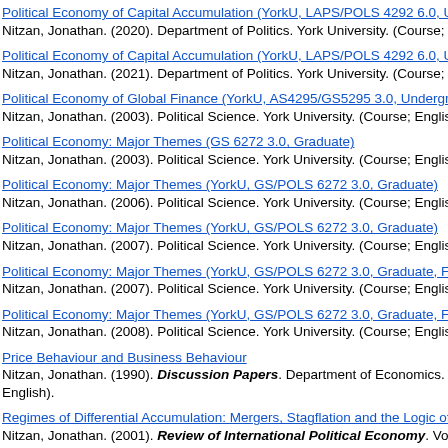Political Economy of Capital Accumulation (YorkU, LAPS/POLS 4292 6.0, Unde
Nitzan, Jonathan. (2020). Department of Politics. York University. (Course; Engl
Political Economy of Capital Accumulation (YorkU, LAPS/POLS 4292 6.0, Unde
Nitzan, Jonathan. (2021). Department of Politics. York University. (Course; Engl
Political Economy of Global Finance (YorkU, AS4295/GS5295 3.0, Undergradua
Nitzan, Jonathan. (2003). Political Science. York University. (Course; English).
Political Economy: Major Themes (GS 6272 3.0, Graduate)
Nitzan, Jonathan. (2003). Political Science. York University. (Course; English).
Political Economy: Major Themes (YorkU, GS/POLS 6272 3.0, Graduate)
Nitzan, Jonathan. (2006). Political Science. York University. (Course; English).
Political Economy: Major Themes (YorkU, GS/POLS 6272 3.0, Graduate)
Nitzan, Jonathan. (2007). Political Science. York University. (Course; English).
Political Economy: Major Themes (YorkU, GS/POLS 6272 3.0, Graduate, Fall Te
Nitzan, Jonathan. (2007). Political Science. York University. (Course; English).
Political Economy: Major Themes (YorkU, GS/POLS 6272 3.0, Graduate, Fall Te
Nitzan, Jonathan. (2008). Political Science. York University. (Course; English).
Price Behaviour and Business Behaviour
Nitzan, Jonathan. (1990). Discussion Papers. Department of Economics. McG
English).
Regimes of Differential Accumulation: Mergers, Stagflation and the Logic of Glo
Nitzan, Jonathan. (2001). Review of International Political Economy. Vol. 8.